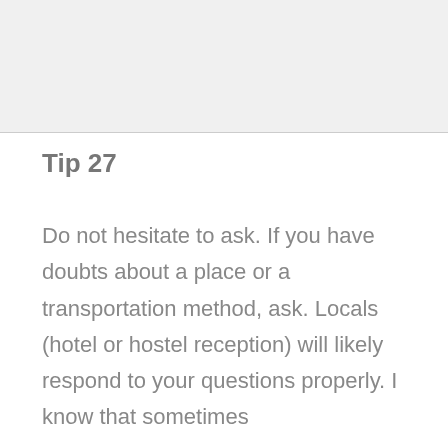[Figure (photo): Placeholder image area at top of page]
Tip 27
Do not hesitate to ask.  If you have doubts about a place or a transportation method, ask.  Locals (hotel or hostel reception) will likely respond to your questions properly.  I know that sometimes